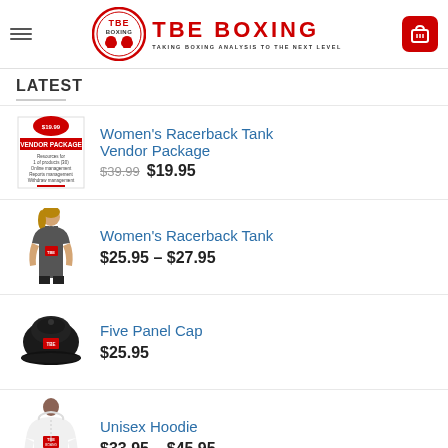TBE BOXING — TAKING BOXING ANALYSIS TO THE NEXT LEVEL
LATEST
Vendor Package — $39.99 $19.95
Women's Racerback Tank — $25.95 – $27.95
Five Panel Cap — $25.95
Unisex Hoodie — $33.95 – $45.95